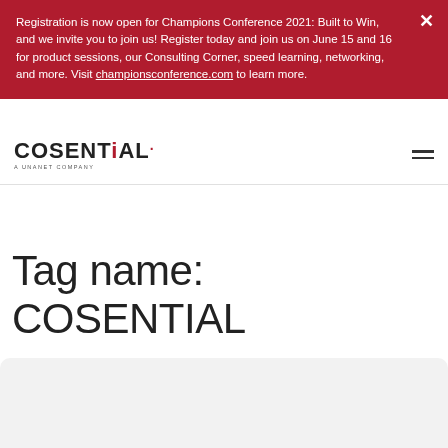Registration is now open for Champions Conference 2021: Built to Win, and we invite you to join us! Register today and join us on June 15 and 16 for product sessions, our Consulting Corner, speed learning, networking, and more. Visit championsconference.com to learn more.
[Figure (logo): Cosential logo — A Unanet Company]
Tag name: COSENTIAL